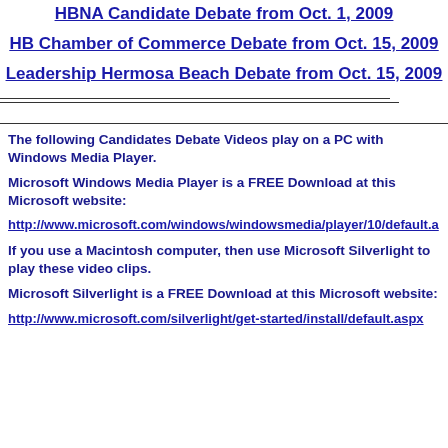HBNA Candidate Debate from Oct. 1, 2009
HB Chamber of Commerce Debate from Oct. 15, 2009
Leadership Hermosa Beach Debate from Oct. 15, 2009
The following Candidates Debate Videos play on a PC with Windows Media Player.
Microsoft Windows Media Player is a FREE Download at this Microsoft website:
http://www.microsoft.com/windows/windowsmedia/player/10/default.a
If you use a Macintosh computer, then use Microsoft Silverlight to play these video clips.
Microsoft Silverlight is a FREE Download at this Microsoft website:
http://www.microsoft.com/silverlight/get-started/install/default.aspx